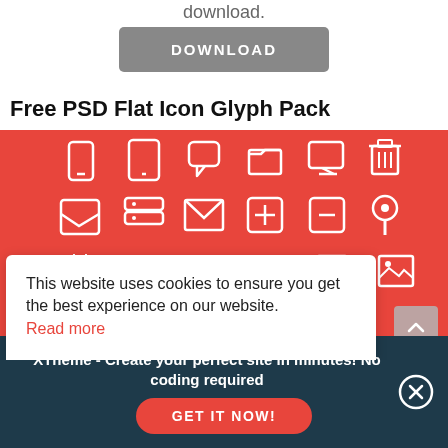download.
DOWNLOAD
Free PSD Flat Icon Glyph Pack
[Figure (screenshot): Red background with three rows of white flat icon glyphs including phone, tablet, chat, folder, monitor, trash, inbox, database, email, plus, minus, location, calendar, grid, camera, browser, document, and image icons.]
This website uses cookies to ensure you get the best experience on our website. Read more
XTheme - Create your perfect site in minutes! No coding required
GET IT NOW!